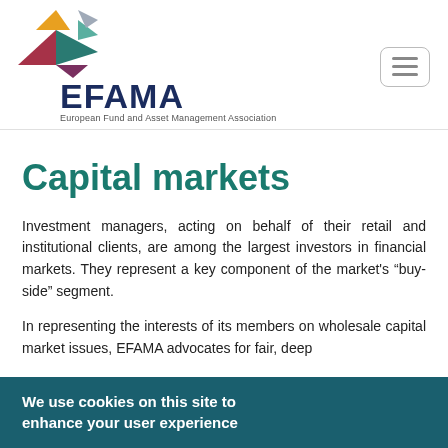[Figure (logo): EFAMA logo with colorful geometric arrow shapes and text 'EFAMA' and 'European Fund and Asset Management Association']
Capital markets
Investment managers, acting on behalf of their retail and institutional clients, are among the largest investors in financial markets. They represent a key component of the market's “buy-side” segment.
In representing the interests of its members on wholesale capital market issues, EFAMA advocates for fair, deep
We use cookies on this site to enhance your user experience